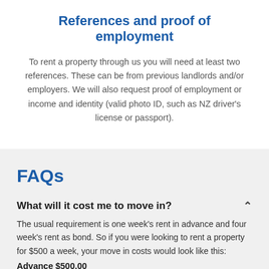References and proof of employment
To rent a property through us you will need at least two references. These can be from previous landlords and/or employers. We will also request proof of employment or income and identity (valid photo ID, such as NZ driver's license or passport).
FAQs
What will it cost me to move in?
The usual requirement is one week's rent in advance and four week's rent as bond. So if you were looking to rent a property for $500 a week, your move in costs would look like this: Advance $500.00